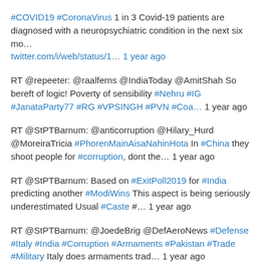#COVID19 #CoronaVirus 1 in 3 Covid-19 patients are diagnosed with a neuropsychiatric condition in the next six mo… twitter.com/i/web/status/1… 1 year ago
RT @repeeter: @raalferns @IndiaToday @AmitShah So bereft of logic! Poverty of sensibility #Nehru #IG #JanataParty77 #RG #VPSINGH #PVN #Coa… 1 year ago
RT @StPTBarnum: @anticorruption @Hilary_Hurd @MoreiraTricia #PhorenMainAisaNahinHota In #China they shoot people for #corruption, dont the… 1 year ago
RT @StPTBarnum: Based on #ExitPoll2019 for #India predicting another #ModiWins This aspect is being seriously underestimated Usual #Caste #… 1 year ago
RT @StPTBarnum: @JoedeBrig @DefAeroNews #Defense #Italy #India #Corruption #Armaments #Pakistan #Trade #Military Italy does armaments trad… 1 year ago
Frugality and extensive trialling are the hallmarks of #DRDO